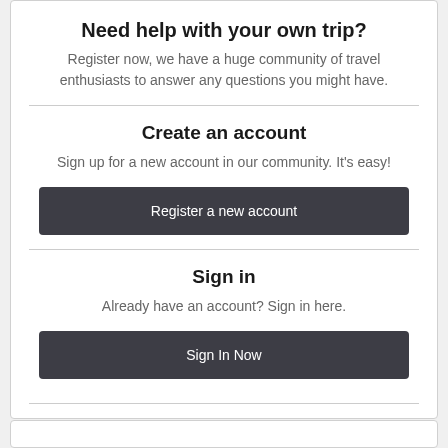Need help with your own trip?
Register now, we have a huge community of travel enthusiasts to answer any questions you might have.
Create an account
Sign up for a new account in our community. It's easy!
Register a new account
Sign in
Already have an account? Sign in here.
Sign In Now